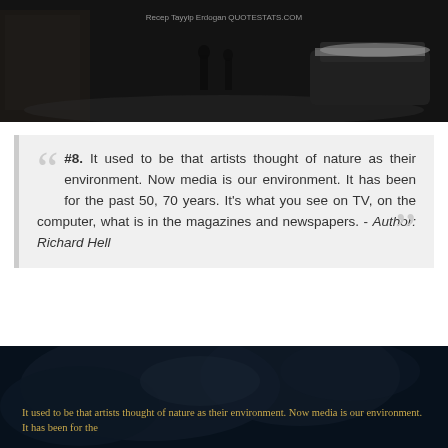[Figure (photo): Dark, moody street scene with people walking in snow, dark vehicles, winter atmosphere with text 'Recep Tayyip Erdogan QUOTESTATS.COM' overlaid]
#8. It used to be that artists thought of nature as their environment. Now media is our environment. It has been for the past 50, 70 years. It's what you see on TV, on the computer, what is in the magazines and newspapers. - Author: Richard Hell
[Figure (photo): Dark atmospheric image with smoke/clouds, dark blue tones, with quote text overlaid in golden/yellow color reading: 'It used to be that artists thought of nature as their environment. Now media is our environment. It has been for the']